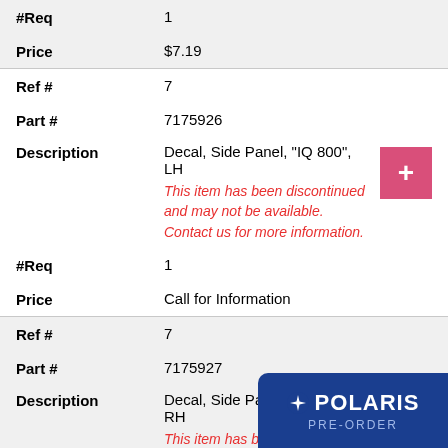| #Req | 1 |
| Price | $7.19 |
| Ref # | 7 |
| Part # | 7175926 |
| Description | Decal, Side Panel, "IQ 800", LH
This item has been discontinued and may not be available. Contact us for more information. |
| #Req | 1 |
| Price | Call for Information |
| Ref # | 7 |
| Part # | 7175927 |
| Description | Decal, Side Panel, "IQ 800", RH
This item has been discontinued and may not be available. Contact us for more information. |
[Figure (logo): Polaris Pre-Order badge in blue with white star logo and text]